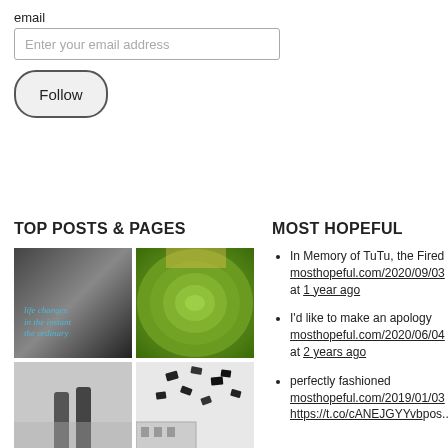email
Enter your email address
Follow
TOP POSTS & PAGES
[Figure (photo): Black and white photo of a person sitting, with blue cursive text overlay reading 'life changes in the instant the ordinary']
[Figure (photo): Green rippling grass terraces or water ripples seen from above]
[Figure (photo): Black and white photo of legs/feet against sky]
[Figure (photo): Black and white photo of graduation caps being tossed in the air near a building]
MOST HOPEFUL
In Memory of TuTu, the Fired... mosthopeful.com/2020/09/03... at 1 year ago
I'd like to make an apology mosthopeful.com/2020/06/04... at 2 years ago
perfectly fashioned mosthopeful.com/2019/01/03... https://t.co/cANEJGYYvbpos...